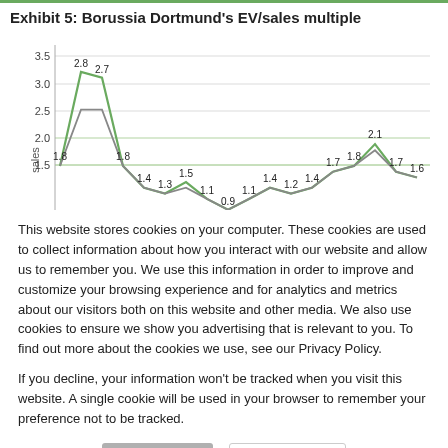Exhibit 5: Borussia Dortmund's EV/sales multiple
[Figure (line-chart): Exhibit 5: Borussia Dortmund's EV/sales multiple]
This website stores cookies on your computer. These cookies are used to collect information about how you interact with our website and allow us to remember you. We use this information in order to improve and customize your browsing experience and for analytics and metrics about our visitors both on this website and other media. We also use cookies to ensure we show you advertising that is relevant to you. To find out more about the cookies we use, see our Privacy Policy.
If you decline, your information won't be tracked when you visit this website. A single cookie will be used in your browser to remember your preference not to be tracked.